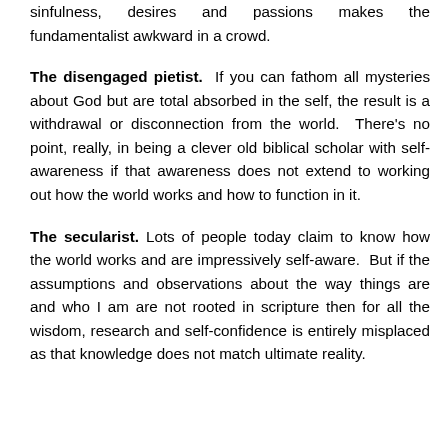sinfulness, desires and passions makes the fundamentalist awkward in a crowd.
The disengaged pietist.  If you can fathom all mysteries about God but are total absorbed in the self, the result is a withdrawal or disconnection from the world.  There's no point, really, in being a clever old biblical scholar with self-awareness if that awareness does not extend to working out how the world works and how to function in it.
The secularist. Lots of people today claim to know how the world works and are impressively self-aware.  But if the assumptions and observations about the way things are and who I am are not rooted in scripture then for all the wisdom, research and self-confidence is entirely misplaced as that knowledge does not match ultimate reality.